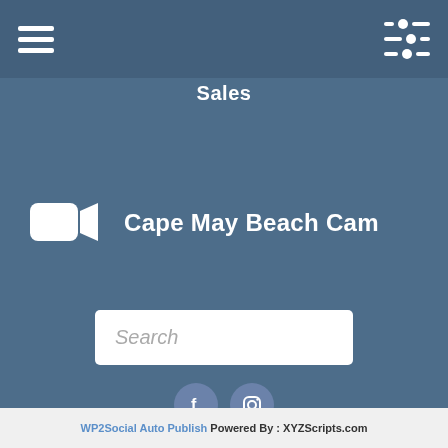Sales
Cape May Beach Cam
Search
[Figure (infographic): Social media icons: Facebook (f) and Instagram circles]
Copyright © 2022 Homestead Cape May Rentals. All Rights Reserved. Web Design by InterCoastal Net Designs
WP2Social Auto Publish Powered By : XYZScripts.com